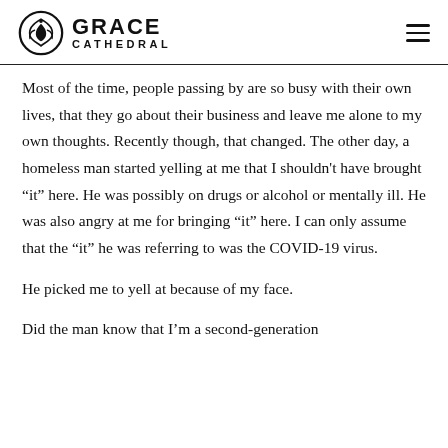Grace Cathedral
Most of the time, people passing by are so busy with their own lives, that they go about their business and leave me alone to my own thoughts. Recently though, that changed. The other day, a homeless man started yelling at me that I shouldn't have brought “it” here. He was possibly on drugs or alcohol or mentally ill. He was also angry at me for bringing “it” here. I can only assume that the “it” he was referring to was the COVID-19 virus.
He picked me to yell at because of my face.
Did the man know that I’m a second-generation